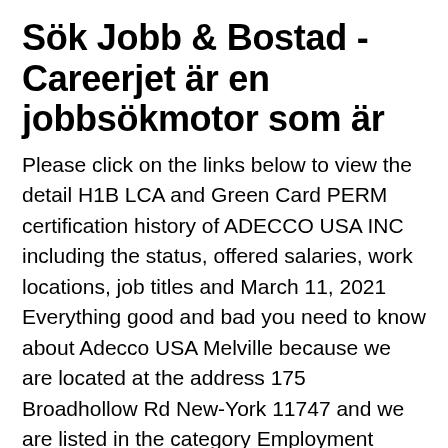Sök Jobb & Bostad - Careerjet är en jobbsökmotor som är
Please click on the links below to view the detail H1B LCA and Green Card PERM certification history of ADECCO USA INC including the status, offered salaries, work locations, job titles and March 11, 2021 Everything good and bad you need to know about Adecco USA Melville because we are located at the address 175 Broadhollow Rd New-York 11747 and we are listed in the category Employment Agencies & Opportunities and you can contact us via email or phone at ☎ 631-844-7800 and the county is Suffolk and Adecco USA has 1-10 employees which means for estimates, questions and … US Business Directory. State: New York. Businesses starting with AD. Page 428 city, state, or